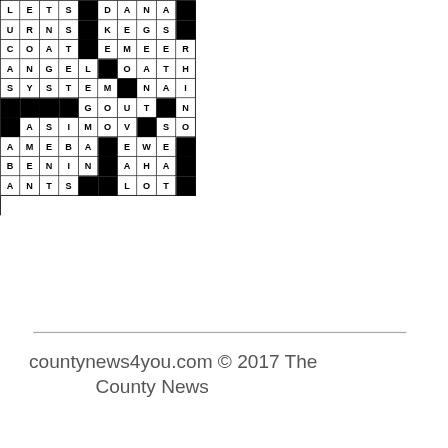[Figure (other): Partial crossword puzzle grid showing letters: Row1: L,E,T,S,black,D,A,N,A,black,N,L; Row2: U,R,N,S,black,K,E,G,S,black,N; Row3: C,O,A,T,black,E,M,E,E,R; Row4: A,N,G,E,L,black,O,A,T,H; Row5: S,Y,S,T,E,M,black,N,A,I,F; Row6: black,black,black,black,G,O,U,T,black,N,I; Row7: black,A,S,I,M,O,V,black,S,O,L,A; Row8: A,M,E,B,A,black,E,W,E,black,I; Row9: B,E,N,I,N,black,A,H,A,black,N,O; Row10: A,N,T,S,black,black,L,O,T,black,G]
countynews4you.com © 2017 The County News